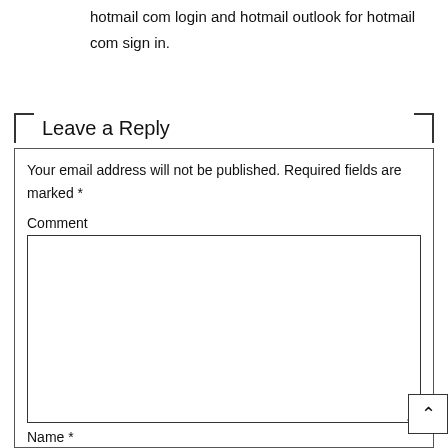hotmail com login and hotmail outlook for hotmail com sign in.
Leave a Reply
Your email address will not be published. Required fields are marked *
Comment
Name *